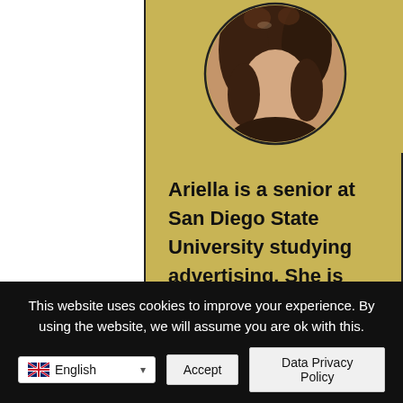[Figure (photo): Circular portrait photo of Ariella, showing a person with dark hair, cropped to show top portion, set on a golden/tan card background]
Ariella is a senior at San Diego State University studying advertising. She is passionate about creating content and especially enjoys writing about travel and lifestyle topics.
This website uses cookies to improve your experience. By using the website, we will assume you are ok with this.
Accept
Data Privacy Policy
English